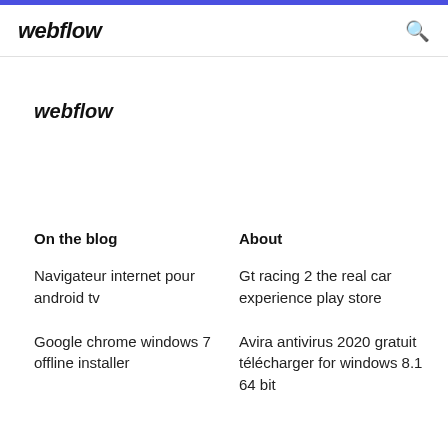webflow
webflow
On the blog
About
Navigateur internet pour android tv
Gt racing 2 the real car experience play store
Google chrome windows 7 offline installer
Avira antivirus 2020 gratuit télécharger for windows 8.1 64 bit